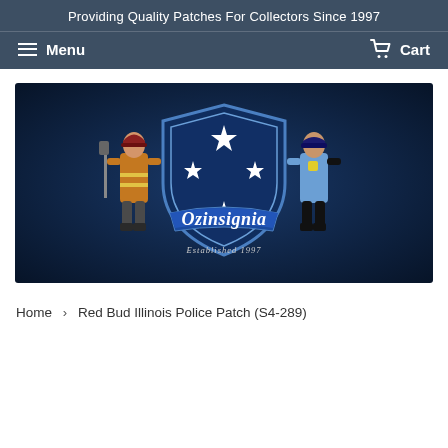Providing Quality Patches For Collectors Since 1997
Menu  Cart
[Figure (logo): Ozinsignia logo banner with dark blue background, a shield with southern cross stars, text 'Ozinsignia' in cursive script, 'Established 1997' below, flanked by illustrated firefighter and police officer figures]
Home > Red Bud Illinois Police Patch (S4-289)